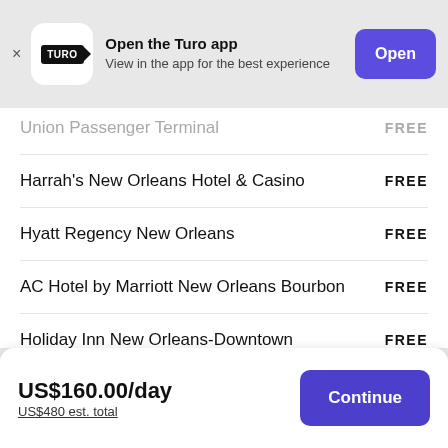Open the Turo app – View in the app for the best experience – Open
Union Passenger Terminal – FREE
Harrah's New Orleans Hotel & Casino – FREE
Hyatt Regency New Orleans – FREE
AC Hotel by Marriott New Orleans Bourbon – FREE
Holiday Inn New Orleans-Downtown Superdome – FREE
The Ritz-Carlton, New Orleans – FREE
US$160.00/day – US$480 est. total – Continue